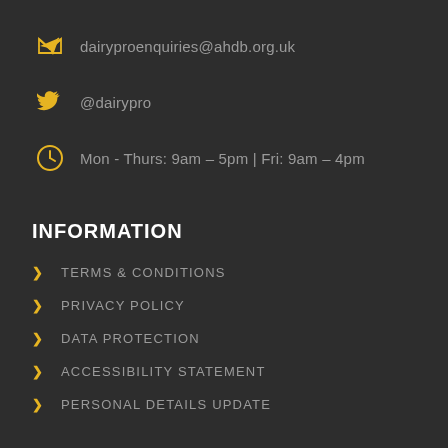dairyproenquiries@ahdb.org.uk
@dairypro
Mon - Thurs: 9am – 5pm | Fri: 9am – 4pm
INFORMATION
TERMS & CONDITIONS
PRIVACY POLICY
DATA PROTECTION
ACCESSIBILITY STATEMENT
PERSONAL DETAILS UPDATE